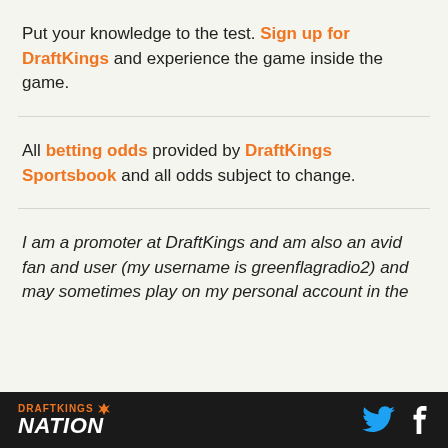Put your knowledge to the test. Sign up for DraftKings and experience the game inside the game.
All betting odds provided by DraftKings Sportsbook and all odds subject to change.
I am a promoter at DraftKings and am also an avid fan and user (my username is greenflagradio2) and may sometimes play on my personal account in the
DRAFTKINGS NATION